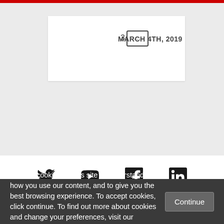MARCH 4TH, 2019
3 [...]
[Figure (infographic): Social media icons: Twitter, YouTube, Facebook, LinkedIn]
[Figure (logo): LSE - The London School logo with red background]
THE LONDON SCHOOL
We use cookies on this site to understand how you use our content, and to give you the best browsing experience. To accept cookies, click continue. To find out more about cookies and change your preferences, visit our Cookie Policy.
Continue